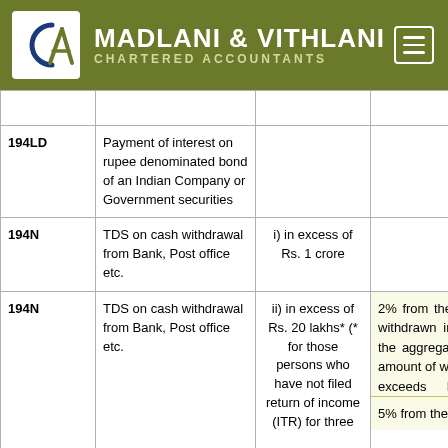MADLANI & VITHLANI CHARTERED ACCOUNTANTS
| Section | Nature of Payment | Threshold | TDS Rate |
| --- | --- | --- | --- |
| 194LD | Payment of interest on rupee denominated bond of an Indian Company or Government securities |  | 5% |
| 194N | TDS on cash withdrawal from Bank, Post office etc. | i) in excess of Rs. 1 crore | 2% |
| 194N | TDS on cash withdrawal from Bank, Post office etc. | ii) in excess of Rs. 20 lakhs* (* for those persons who have not filed return of income (ITR) for three | 2% from the amount withdrawn in cash if the aggregate of the amount of withdrawal exceeds Rs. 20 lakhs during the previous year | 5% from the amount... |